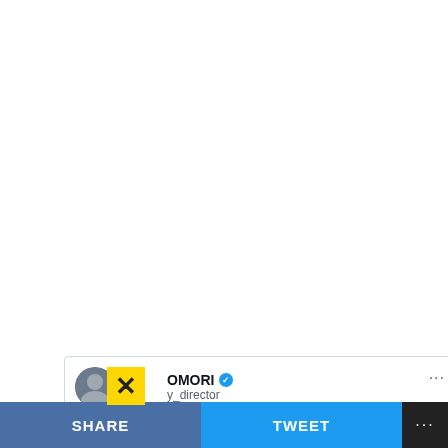[Figure (screenshot): Screenshot of a tweet by a user with handle ending in 'OMORI' and 'y_director'. The tweet reads: 'Life is hard for the poor don't film them while giving them bread. Every man has pride na hunger humble them, deep down he doesn't wish to be on social as the poor one who couldn't afford bread but I mean a beggar has no choice.' Posted at 10:15 AM · May 17, 2022 · Twitter for iPhone. Stats: 3,186 Retweets, 200 Quote Tweets, 9,183 Likes. Bottom bar with SHARE, TWEET, and ... buttons.]